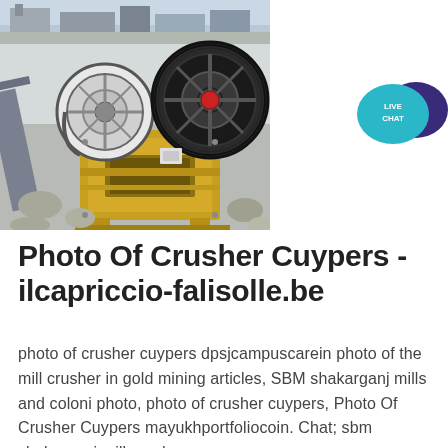[Figure (photo): Photograph of a yellow jaw crusher machine with large black flywheels, set outdoors at a quarry or construction site with rocks and gravel in the background. Two photos combined: a top strip showing machinery and a larger main image of the crusher.]
[Figure (illustration): Live Chat button icon: a teal speech bubble with 'LIVE CHAT' text and a dark purple speech bubble overlapping behind it.]
Photo Of Crusher Cuypers - ilcapriccio-falisolle.be
photo of crusher cuypers dpsjcampuscarein photo of the mill crusher in gold mining articles, SBM shakarganj mills and coloni photo, photo of crusher cuypers, Photo Of Crusher Cuypers mayukhportfoliocoin. Chat; sbm shakarganj mills and